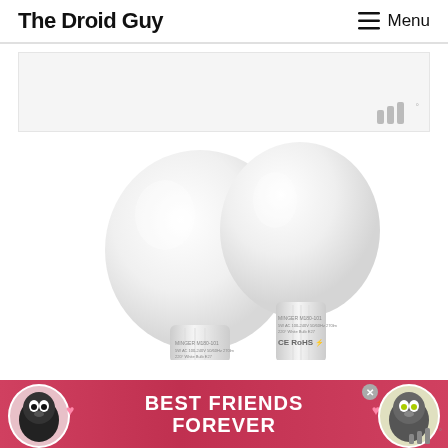The Droid Guy
[Figure (other): Advertisement placeholder area with Mediavine logo (three bars with degree symbol)]
[Figure (photo): Two white MINGER LED light bulbs side by side showing product labels with CE RoHS certification marks]
[Figure (other): Bottom banner advertisement showing two cats with text BEST FRIENDS FOREVER on pink/dark background with close button]